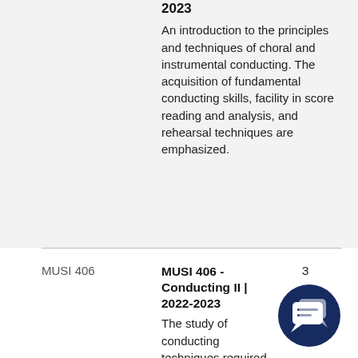2023
An introduction to the principles and techniques of choral and instrumental conducting. The acquisition of fundamental conducting skills, facility in score reading and analysis, and rehearsal techniques are emphasized.
MUSI 406
MUSI 406 - Conducting II | 2022-2023
3
The study of conducting techniques required for difficult examples using traditional compositional